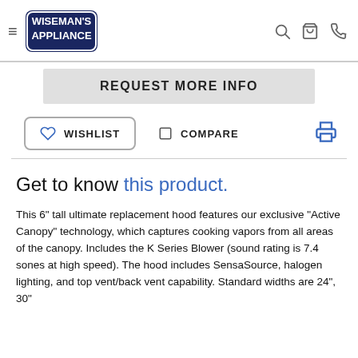Wiseman's Appliance
REQUEST MORE INFO
WISHLIST   COMPARE
Get to know this product.
This 6" tall ultimate replacement hood features our exclusive "Active Canopy" technology, which captures cooking vapors from all areas of the canopy. Includes the K Series Blower (sound rating is 7.4 sones at high speed). The hood includes SensaSource, halogen lighting, and top vent/back vent capability. Standard widths are 24", 30"